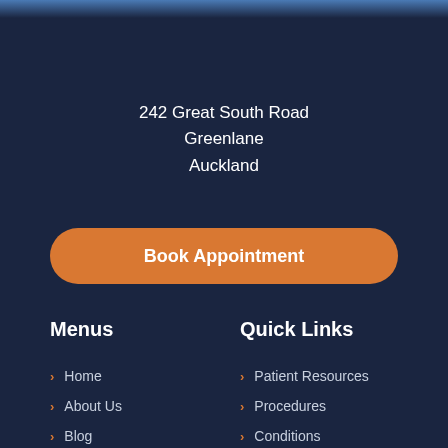[Figure (photo): Top strip showing partial image of hands/medical context fading into dark navy background]
242 Great South Road
Greenlane
Auckland
Book Appointment
Menus
Quick Links
Home
About Us
Blog
Patient Resources
Procedures
Conditions